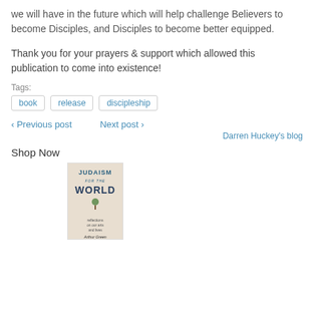we will have in the future which will help challenge Believers to become Disciples, and Disciples to become better equipped.
Thank you for your prayers & support which allowed this publication to come into existence!
Tags:
book
release
discipleship
‹ Previous post   Next post ›
Darren Huckey's blog
Shop Now
[Figure (photo): Book cover for 'Judaism for the World' by Arthur Green, featuring the title text and a small tree illustration on a light tan background.]